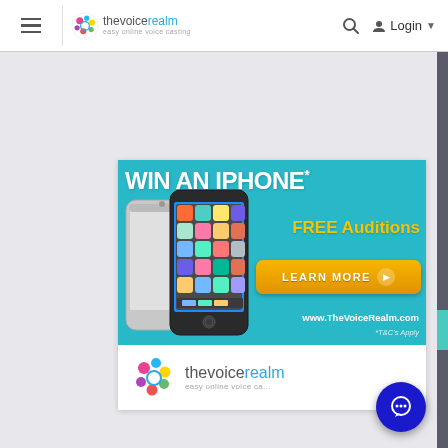thevoicerealm — easy online voice casting | Login
[Figure (screenshot): Advertisement banner: WIN AN IPHONE* FREE Auditions LEARN MORE www.TheVoiceRealm.com *T&C's Apply, with iPhone images on teal background]
[Figure (logo): thevoicerealm — easy online voice casting logo in white footer area of ad card]